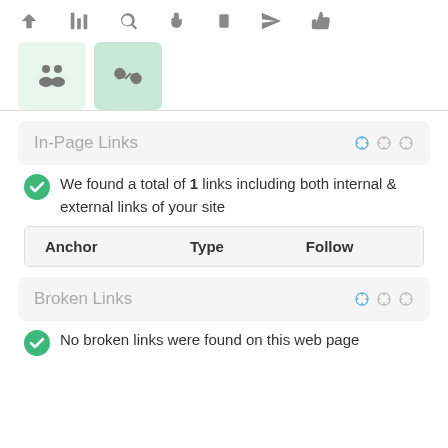[Figure (screenshot): Top toolbar with navigation icons: up arrow, bar chart, search, hand pointer, mobile, send, thumbs up]
[Figure (screenshot): Two tab buttons: people/group icon (inactive, light green), chain link icon (active, darker green)]
In-Page Links
We found a total of 1 links including both internal & external links of your site
| Anchor | Type | Follow |
| --- | --- | --- |
Broken Links
No broken links were found on this web page